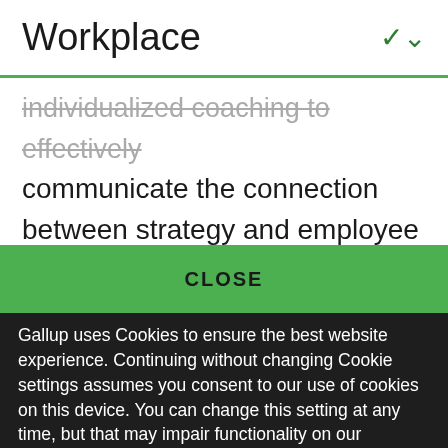Workplace
individualized coaching to effectively communicate the connection between strategy and employee action; such assistance is readily available. But only when engagement is understood as strategy can it
CLOSE
Gallup uses Cookies to ensure the best website experience. Continuing without changing Cookie settings assumes you consent to our use of cookies on this device. You can change this setting at any time, but that may impair functionality on our websites.
Privacy Statement   Site Terms of Use and Sale
Product Terms of Use   Adjust your cookie settings.